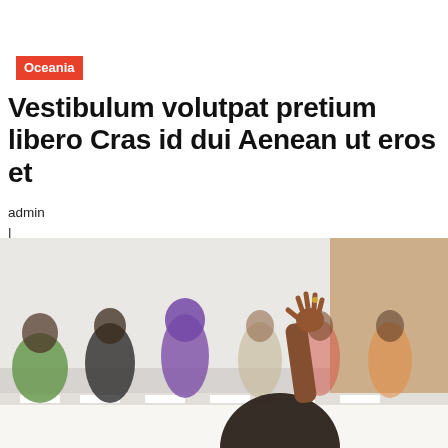Oceania
Vestibulum volutpat pretium libero Cras id dui Aenean ut eros et
admin
|
April 5, 2018
Full Aricle
[Figure (photo): A person raising their hand in front of a panel of seated attendees at a conference table, with name placards visible. Several people in colorful attire are seated along the table in a meeting room with a light background.]